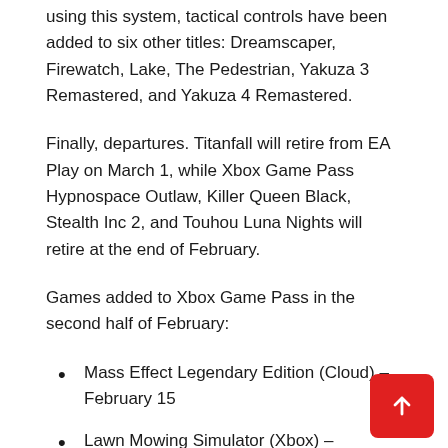using this system, tactical controls have been added to six other titles: Dreamscaper, Firewatch, Lake, The Pedestrian, Yakuza 3 Remastered, and Yakuza 4 Remastered.
Finally, departures. Titanfall will retire from EA Play on March 1, while Xbox Game Pass Hypnospace Outlaw, Killer Queen Black, Stealth Inc 2, and Touhou Luna Nights will retire at the end of February.
Games added to Xbox Game Pass in the second half of February:
Mass Effect Legendary Edition (Cloud) – February 15
Lawn Mowing Simulator (Xbox) – February 17